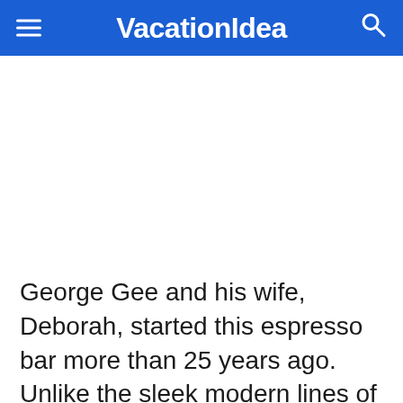VacationIdea
George Gee and his wife, Deborah, started this espresso bar more than 25 years ago. Unlike the sleek modern lines of newer coffee shops, Side Street is an eclectic montage of mementos, chronicling life in Anchorage over